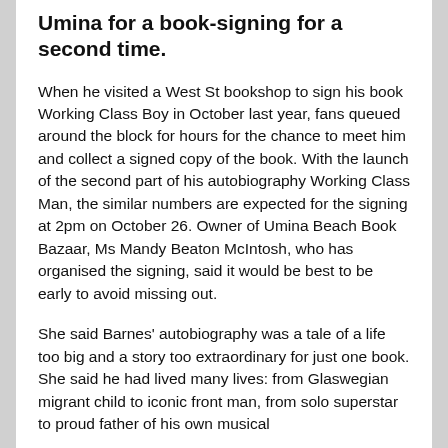Umina for a book-signing for a second time.
When he visited a West St bookshop to sign his book Working Class Boy in October last year, fans queued around the block for hours for the chance to meet him and collect a signed copy of the book. With the launch of the second part of his autobiography Working Class Man, the similar numbers are expected for the signing at 2pm on October 26. Owner of Umina Beach Book Bazaar, Ms Mandy Beaton McIntosh, who has organised the signing, said it would be best to be early to avoid missing out.
She said Barnes' autobiography was a tale of a life too big and a story too extraordinary for just one book. She said he had lived many lives: from Glaswegian migrant child to iconic front man, from solo superstar to proud father of his own musical